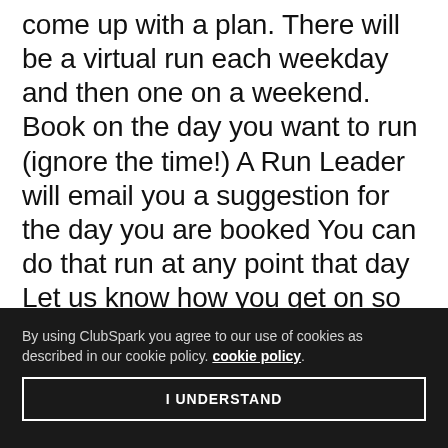come up with a plan. There will be a virtual run each weekday and then one on a weekend. Book on the day you want to run (ignore the time!) A Run Leader will email you a suggestion for the day you are booked You can do that run at any point that day Let us know how you get on so we can share some positive thoughts and motivation By booking on it may help motivate you to get out, just like when we used to book the real thing, you'll also know anyone else booked will be doing the same run as you, just somewhere else! A Run Leader won't be there so please warm up and cool down and
By using ClubSpark you agree to our use of cookies as described in our cookie policy. cookie policy.
I UNDERSTAND